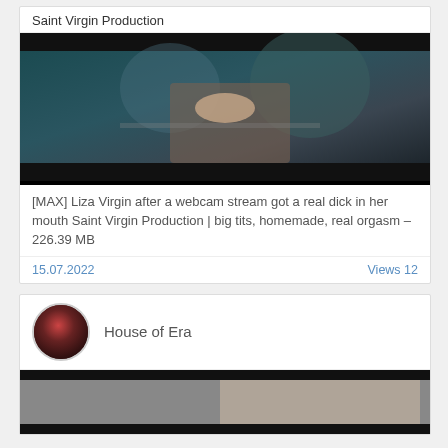Saint Virgin Production
[Figure (photo): Thumbnail photo for adult video content]
[MAX] Liza Virgin after a webcam stream got a real dick in her mouth Saint Virgin Production | big tits, homemade, real orgasm – 226.39 MB
15.07.2022    Views 12
House of Era
[Figure (photo): Thumbnail photo partially visible at bottom of page]